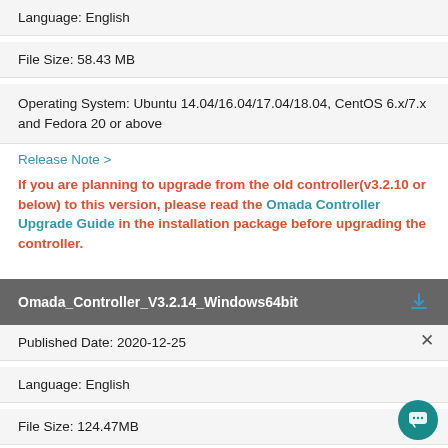Language: English
File Size: 58.43 MB
Operating System: Ubuntu 14.04/16.04/17.04/18.04, CentOS 6.x/7.x and Fedora 20 or above
Release Note >
If you are planning to upgrade from the old controller(v3.2.10 or below) to this version, please read the Omada Controller Upgrade Guide in the installation package before upgrading the controller.
Omada_Controller_V3.2.14_Windows64bit
Published Date: 2020-12-25
Language: English
File Size: 124.47MB